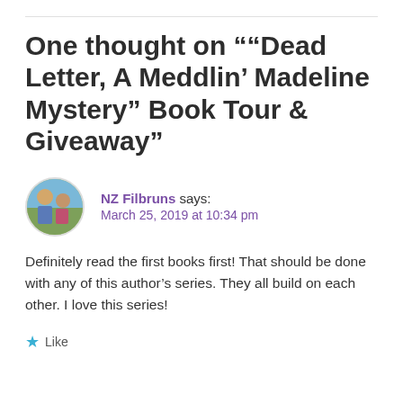One thought on "“Dead Letter, A Meddlin’ Madeline Mystery” Book Tour & Giveaway"
NZ Filbruns says: March 25, 2019 at 10:34 pm
Definitely read the first books first! That should be done with any of this author’s series. They all build on each other. I love this series!
★ Like